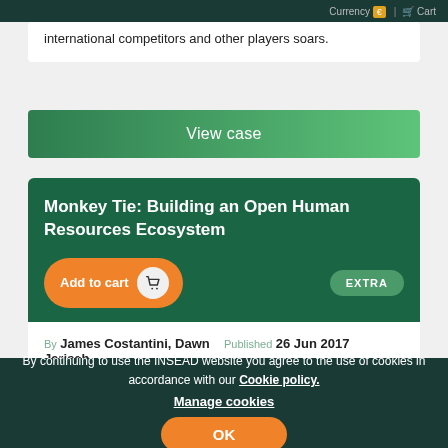Currency | Cart
international competitors and other players soars.
View case
Monkey Tie: Building an Open Human Resources Ecosystem
Add to cart   EXTRA
By James Costantini, Dawn Jarisch   Published 26 Jun 2017   Topic Strategy   Reference 6305   Region Europe
By continuing to use the INSEAD website you agree to the use of cookies in accordance with our Cookie policy. Manage cookies
OK